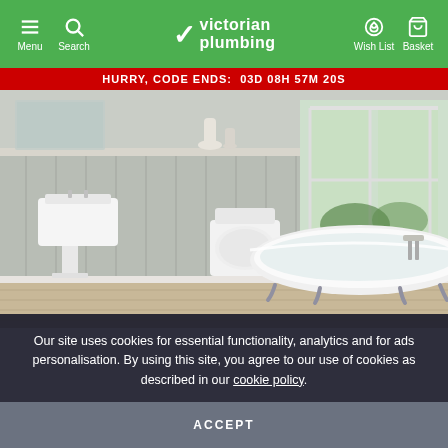Menu | Search | Victorian Plumbing | Wish List | Basket
HURRY, CODE ENDS: 03D 08H 57M 20S
[Figure (photo): Victorian plumbing bathroom suite showing a freestanding clawfoot bath, pedestal sink, and close-coupled toilet in a traditional styled bathroom with panelled walls and wooden floor.]
Our site uses cookies for essential functionality, analytics and for ads personalisation. By using this site, you agree to our use of cookies as described in our cookie policy.
ACCEPT
New Pavilion Traditional Complete Bathroom Suite | WB...